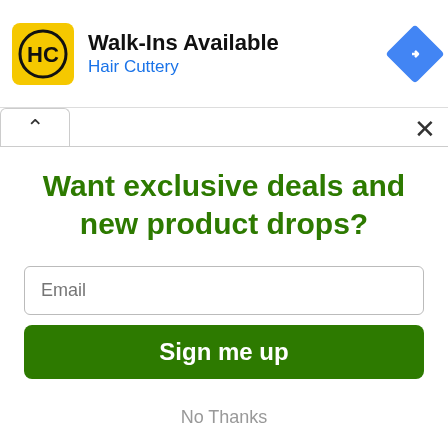[Figure (screenshot): Hair Cuttery advertisement banner with yellow logo, 'Walk-Ins Available' heading, 'Hair Cuttery' subtitle in blue, and a blue navigation diamond icon on the right]
Want exclusive deals and new product drops?
Email
Sign me up
No Thanks